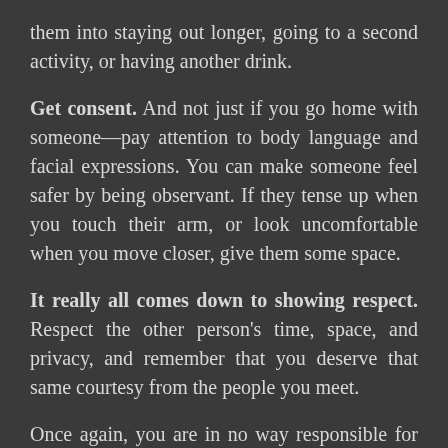them into staying out longer, going to a second activity, or having another drink.
Get consent. And not just if you go home with someone—pay attention to body language and facial expressions. You can make someone feel safer by being observant. If they tense up when you touch their arm, or look uncomfortable when you move closer, give them some space.
It really all comes down to showing respect. Respect the other person's time, space, and privacy, and remember that you deserve that same courtesy from the people you meet.
Once again, you are in no way responsible for someone else's predatory behavior, but you should feel